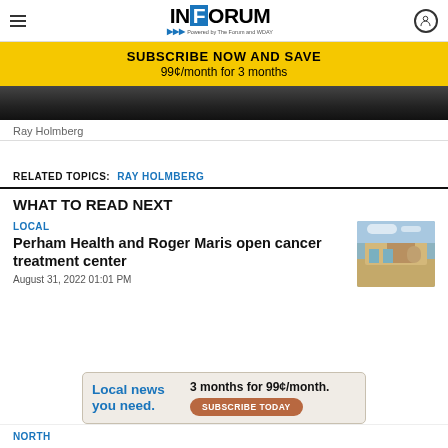INFORUM
[Figure (infographic): Yellow subscription banner: SUBSCRIBE NOW AND SAVE 99¢/month for 3 months]
[Figure (photo): Partial photo of Ray Holmberg, bottom portion visible]
Ray Holmberg
RELATED TOPICS: RAY HOLMBERG
WHAT TO READ NEXT
LOCAL
Perham Health and Roger Maris open cancer treatment center
August 31, 2022 01:01 PM
[Figure (photo): Thumbnail photo of a building exterior — Roger Maris Cancer Center]
[Figure (infographic): Advertisement: Local news you need. 3 months for 99¢/month. SUBSCRIBE TODAY button]
NORTH